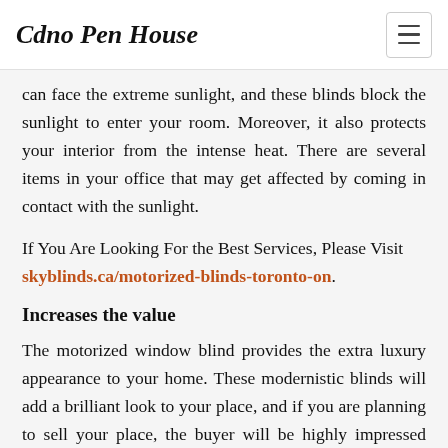Cdno Pen House
can face the extreme sunlight, and these blinds block the sunlight to enter your room. Moreover, it also protects your interior from the intense heat. There are several items in your office that may get affected by coming in contact with the sunlight.
If You Are Looking For the Best Services, Please Visit skyblinds.ca/motorized-blinds-toronto-on.
Increases the value
The motorized window blind provides the extra luxury appearance to your home. These modernistic blinds will add a brilliant look to your place, and if you are planning to sell your place, the buyer will be highly impressed when he will notice the motorized blinds